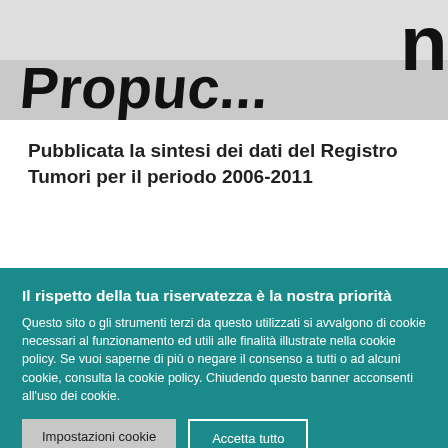[Figure (photo): Close-up photo of a document or sign with partial bold black text visible, showing letters resembling 'Propuc' on a white/grey background]
Pubblicata la sintesi dei dati del Registro Tumori per il periodo 2006-2011
Il rispetto della tua riservatezza è la nostra priorità
Questo sito o gli strumenti terzi da questo utilizzati si avvalgono di cookie necessari al funzionamento ed utili alle finalità illustrate nella cookie policy. Se vuoi saperne di più o negare il consenso a tutti o ad alcuni cookie, consulta la cookie policy. Chiudendo questo banner acconsenti all'uso dei cookie.
Impostazioni cookie
Accetta tutto